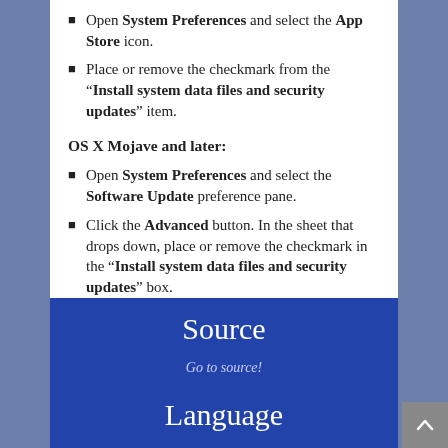Open System Preferences and select the App Store icon.
Place or remove the checkmark from the "Install system data files and security updates" item.
OS X Mojave and later:
Open System Preferences and select the Software Update preference pane.
Click the Advanced button. In the sheet that drops down, place or remove the checkmark in the "Install system data files and security updates" box.
Source
Go to source!
Language